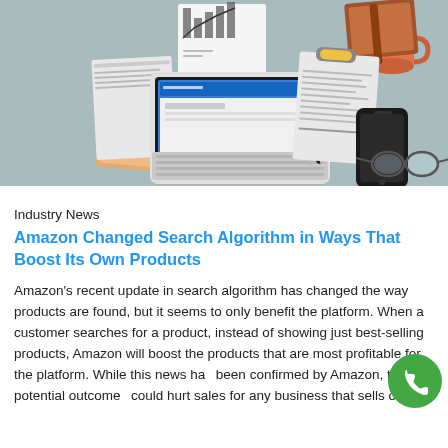[Figure (photo): Flat-lay photo of a desk with a laptop, notebook, clipboard with documents, smartphone, glasses, coffee mug, and a bar chart on paper, all on a light blue-grey background.]
Industry News
Amazon Changed Search Algorithm in Ways That Boost Its Own Products
Amazon's recent update in search algorithm has changed the way products are found, but it seems to only benefit the platform. When a customer searches for a product, instead of showing just best-selling products, Amazon will boost the products that are most profitable for the platform. While this news has been confirmed by Amazon, the potential outcome could hurt sales for any business that sells on the